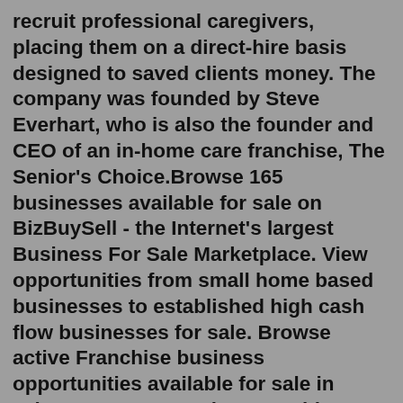recruit professional caregivers, placing them on a direct-hire basis designed to saved clients money. The company was founded by Steve Everhart, who is also the founder and CEO of an in-home care franchise, The Senior's Choice.Browse 165 businesses available for sale on BizBuySell - the Internet's largest Business For Sale Marketplace. View opportunities from small home based businesses to established high cash flow businesses for sale. Browse active Franchise business opportunities available for sale in Telangana. Buy running Franchise business & investment opportunities in Telangana.Hallmark Cards continued to manage and produce the franchise and the Hall of Fame was a division of Hallmark Cards. Today's announcement puts Crown Media's production arm, Crown Media Productions, into oversight of the division; it will now own HHOF and oversee the franchise entirely.No ExtraMile franchises will be offered or sold to any resident of such jurisdiction until (1) the offering has been duly